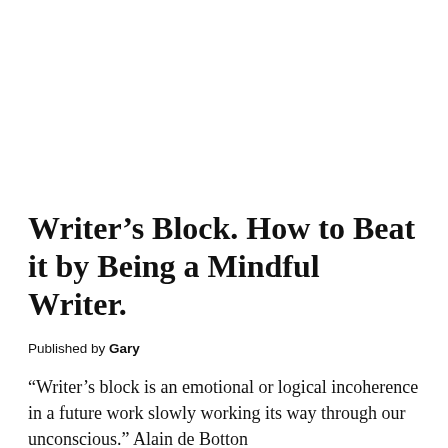Writer’s Block. How to Beat it by Being a Mindful Writer.
Published by Gary
“Writer’s block is an emotional or logical incoherence in a future work slowly working its way through our unconscious.” Alain de Botton